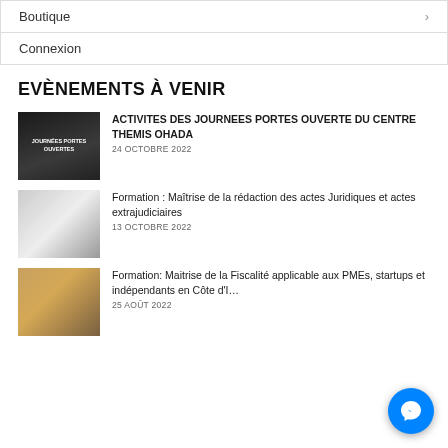Boutique
Connexion
EVÈNEMENTS À VENIR
[Figure (photo): Dark photo of a man in suit, labeled JOURNÉES PORTES OUVERTES]
ACTIVITES DES JOURNEES PORTES OUVERTE DU CENTRE THEMIS OHADA
24 OCTOBRE 2022
[Figure (photo): Photo of papers/documents being reviewed]
Formation : Maîtrise de la rédaction des actes Juridiques et actes extrajudiciaires
13 OCTOBRE 2022
[Figure (photo): Photo of person working at desk with finances/taxes]
Formation: Maitrise de la Fiscalité applicable aux PMEs, startups et indépendants en Côte d'Ivoire
25 AOÛT 2022